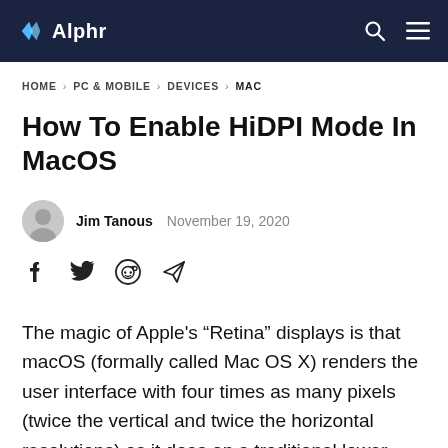Alphr
HOME > PC & MOBILE > DEVICES > MAC
How To Enable HiDPI Mode In MacOS
Jim Tanous   November 19, 2020
[Figure (illustration): Social share icons: Facebook, Twitter, Reddit, Telegram]
The magic of Apple's “Retina” displays is that macOS (formally called Mac OS X) renders the user interface with four times as many pixels (twice the vertical and twice the horizontal resolutions) as it does on a traditional lower resolution display, meaning the benefits of